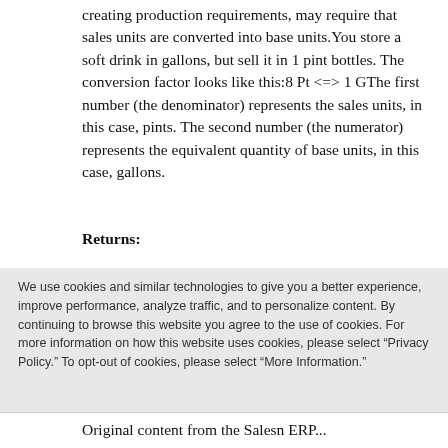creating production requirements, may require that sales units are converted into base units. You store a soft drink in gallons, but sell it in 1 pint bottles. The conversion factor looks like this:8 Pt <=> 1 GThe first number (the denominator) represents the sales units, in this case, pints. The second number (the numerator) represents the equivalent quantity of base units, in this case, gallons.
Returns:
We use cookies and similar technologies to give you a better experience, improve performance, analyze traffic, and to personalize content. By continuing to browse this website you agree to the use of cookies. For more information on how this website uses cookies, please select "Privacy Policy." To opt-out of cookies, please select "More Information."
Accept Cookies
More Information
Privacy Policy | Powered by: TrustArc